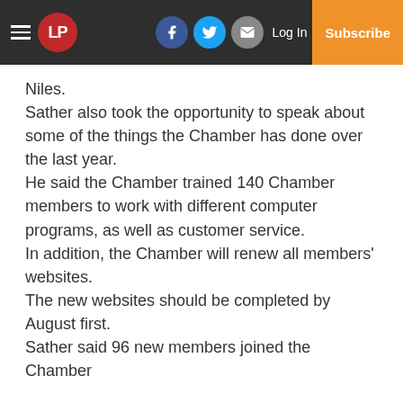LP | Log In | Subscribe
Niles.
Sather also took the opportunity to speak about some of the things the Chamber has done over the last year.
He said the Chamber trained 140 Chamber members to work with different computer programs, as well as customer service.
In addition, the Chamber will renew all members' websites.
The new websites should be completed by August first.
Sather said 96 new members joined the Chamber